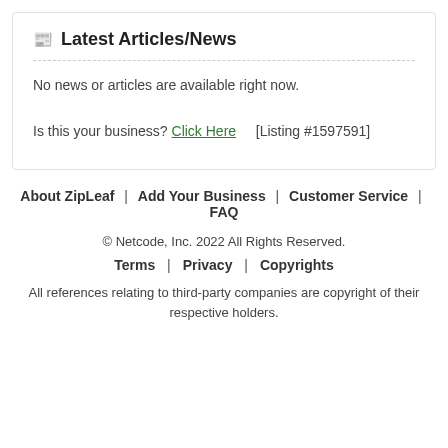Latest Articles/News
No news or articles are available right now.
Is this your business? Click Here   [Listing #1597591]
About ZipLeaf  |  Add Your Business  |  Customer Service  |  FAQ
© Netcode, Inc. 2022 All Rights Reserved.
Terms  |  Privacy  |  Copyrights
All references relating to third-party companies are copyright of their respective holders.